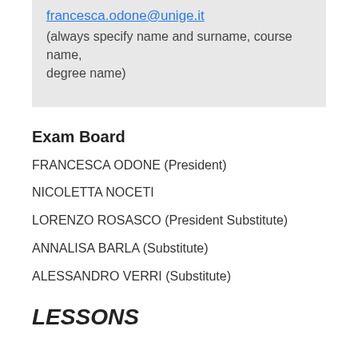francesca.odone@unige.it
(always specify name and surname, course name, degree name)
Exam Board
FRANCESCA ODONE (President)
NICOLETTA NOCETI
LORENZO ROSASCO (President Substitute)
ANNALISA BARLA (Substitute)
ALESSANDRO VERRI (Substitute)
LESSONS